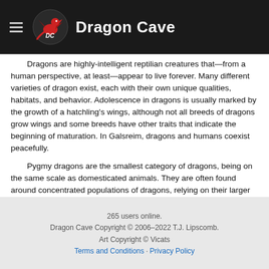Dragon Cave
Dragons are highly-intelligent reptilian creatures that—from a human perspective, at least—appear to live forever. Many different varieties of dragon exist, each with their own unique qualities, habitats, and behavior. Adolescence in dragons is usually marked by the growth of a hatchling's wings, although not all breeds of dragons grow wings and some breeds have other traits that indicate the beginning of maturation. In Galsreim, dragons and humans coexist peacefully.
Pygmy dragons are the smallest category of dragons, being on the same scale as domesticated animals. They are often found around concentrated populations of dragons, relying on their larger brethren to ward away potential predators and leave scraps. As such, the majority of a pygmy's diet is scavenged. Due to their tiny size, pygmies do not breed with larger varieties of dragons.
265 users online.
Dragon Cave Copyright © 2006–2022 T.J. Lipscomb.
Art Copyright © Vicats
Terms and Conditions · Privacy Policy